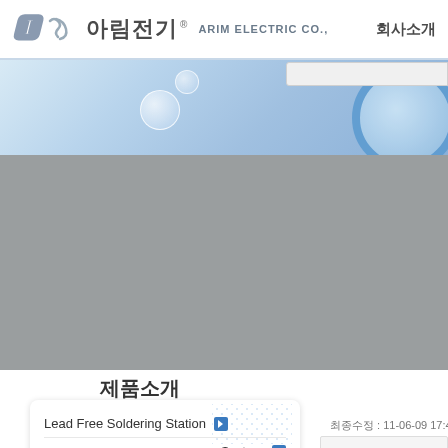아림전기® ARIM ELECTRIC CO.,   회사소개
[Figure (photo): Banner with light blue background, water bubbles, and a blue circular ring element on the right]
[Figure (illustration): Gray placeholder content area]
제품소개
Lead Free Soldering Station ▶
System ▶
최종수정 : 11-06-09 17:47